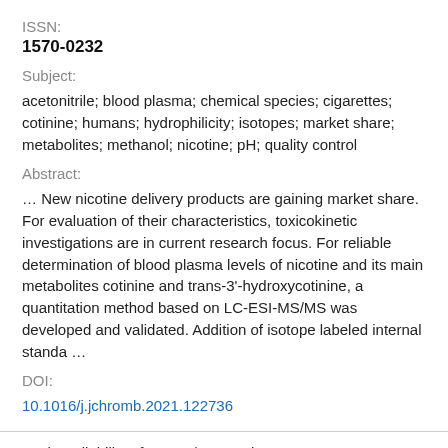ISSN:
1570-0232
Subject:
acetonitrile; blood plasma; chemical species; cigarettes; cotinine; humans; hydrophilicity; isotopes; market share; metabolites; methanol; nicotine; pH; quality control
Abstract:
… New nicotine delivery products are gaining market share. For evaluation of their characteristics, toxicokinetic investigations are in current research focus. For reliable determination of blood plasma levels of nicotine and its main metabolites cotinine and trans-3'-hydroxycotinine, a quantitation method based on LC-ESI-MS/MS was developed and validated. Addition of isotope labeled internal standa …
DOI:
10.1016/j.jchromb.2021.122736
2. The reliability of MOSH/MOAH data: a comment on a